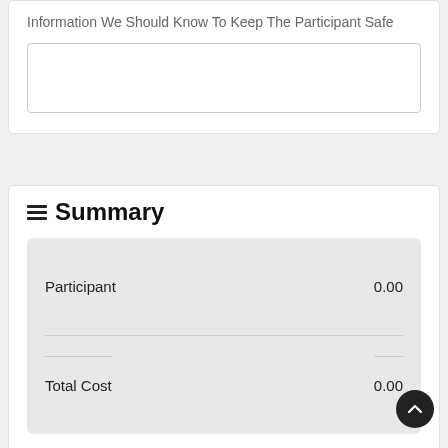Information We Should Know To Keep The Participant Safe
Summary
|  |  |
| --- | --- |
| Participant | 0.00 |
| Total Cost | 0.00 |